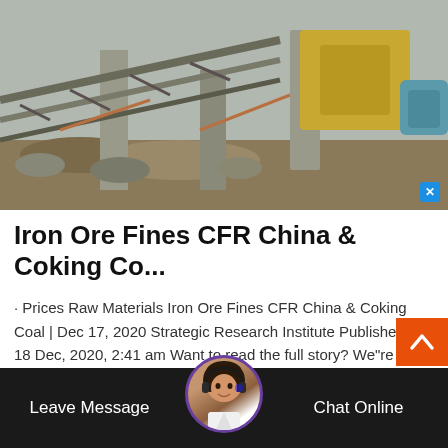[Figure (photo): Industrial mining/crushing machinery — yellow jaw crusher, metal conveyor framework, and blue motor on a construction site background]
Iron Ore Fines CFR China & Coking Co...
· Prices Raw Materials Iron Ore Fines CFR China & Coking Coal | Dec 17, 2020 Strategic Research Institute Published on: 18 Dec, 2020, 2:41 am Want to read the full story? We"re glad you"re ...
[Figure (screenshot): Chat bar at bottom of screen with 'Leave Message' on left, customer service avatar in center, and 'Chat Online' on right, over dark background]